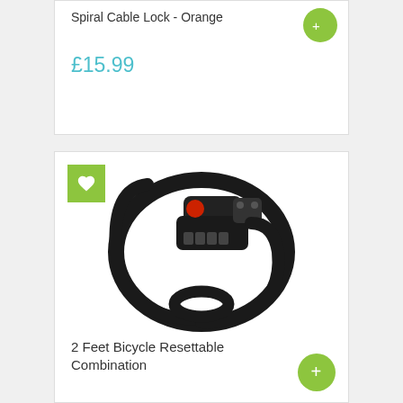Spiral Cable Lock - Orange
£15.99
[Figure (photo): Black bicycle combination cable lock coiled up, with a red button on the locking mechanism and digit combination dials]
2 Feet Bicycle Resettable Combination